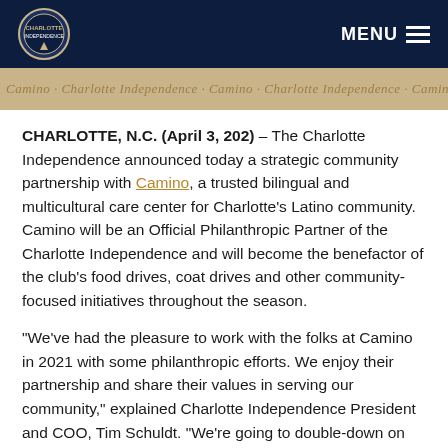MENU
[Figure (illustration): Decorative banner with repeated 'Camino' and 'Charlotte Independence' text in script/italic style on a tan/beige background]
CHARLOTTE, N.C. (April 3, 202) – The Charlotte Independence announced today a strategic community partnership with Camino, a trusted bilingual and multicultural care center for Charlotte's Latino community. Camino will be an Official Philanthropic Partner of the Charlotte Independence and will become the benefactor of the club's food drives, coat drives and other community-focused initiatives throughout the season.
“We’ve had the pleasure to work with the folks at Camino in 2021 with some philanthropic efforts. We enjoy their partnership and share their values in serving our community,” explained Charlotte Independence President and COO, Tim Schuldt. “We’re going to double-down on the philanthropy